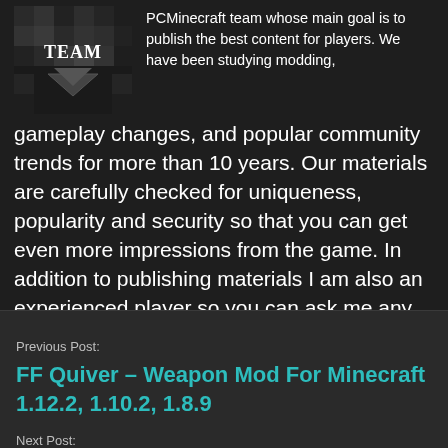[Figure (logo): PCMinecraft team logo with pixelated Minecraft-style graphic and 'TEAM' text]
PCMinecraft team whose main goal is to publish the best content for players. We have been studying modding, gameplay changes, and popular community trends for more than 10 years. Our materials are carefully checked for uniqueness, popularity and security so that you can get even more impressions from the game. In addition to publishing materials I am also an experienced player so you can ask me any questions in the comments.
Previous Post:
FF Quiver – Weapon Mod For Minecraft 1.12.2, 1.10.2, 1.8.9
Next Post:
Minema – GUI Mod For Minecraft 1.12.2, 1.11.2, 1.10.2, 1.7.10